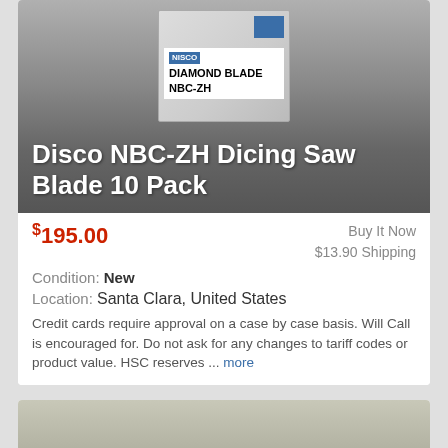[Figure (photo): Product photo of Disco NBC-ZH Diamond Blade box, 10-pack, on gray gradient background]
Disco NBC-ZH Dicing Saw Blade 10 Pack
$195.00
Buy It Now
$13.90 Shipping
Condition: New
Location: Santa Clara, United States
Credit cards require approval on a case by case basis. Will Call is encouraged for. Do not ask for any changes to tariff codes or product value. HSC reserves ... more
[Figure (photo): Product photo of [90-Day Warranty] Verteq Process Controller device with teal/dark control panel]